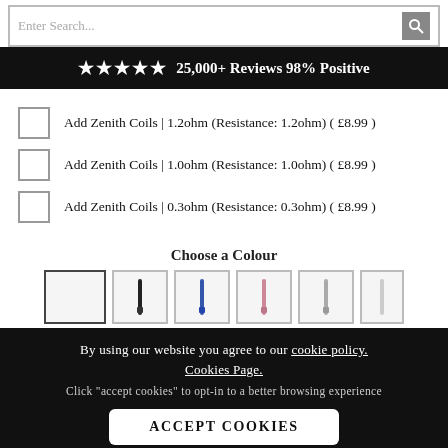Enter Search...
★★★★★ 25,000+ Reviews 98% Positive
Add Zenith Coils | 1.2ohm (Resistance: 1.2ohm) ( £8.99 )
Add Zenith Coils | 1.0ohm (Resistance: 1.0ohm) ( £8.99 )
Add Zenith Coils | 0.3ohm (Resistance: 0.3ohm) ( £8.99 )
Choose a Colour
[Figure (photo): Colour swatches showing vape device options in different colours]
By using our website you agree to our cookie policy. Cookies Page. Click "accept cookies" to opt-in to a better browsing experience
ACCEPT COOKIES